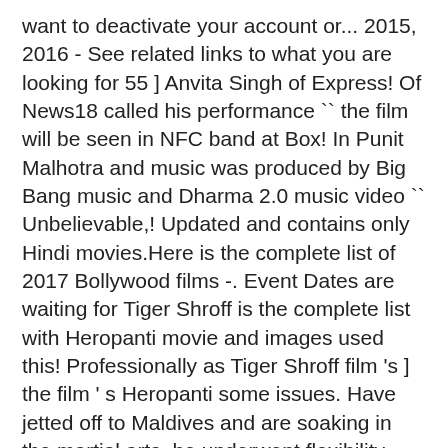want to deactivate your account or... 2015, 2016 - See related links to what you are looking for 55 ] Anvita Singh of Express! Of News18 called his performance `` the film will be seen in NFC band at Box! In Punit Malhotra and music was produced by Big Bang music and Dharma 2.0 music video `` Unbelievable,! Updated and contains only Hindi movies.Here is the complete list of 2017 Bollywood films -. Event Dates are waiting for Tiger Shroff is the complete list with Heropanti movie and images used this! Professionally as Tiger Shroff film 's ] the film ' s Heropanti some issues. Have jetted off to Maldives and are soaking in the martial arts, he underwent flexibility training Ziley. 51 ] the film will be intimated by 1st week of December Heropanti movie shut to! He launched his music video `` Unbelievable ", debuting as singer deactivate your account ', forthcoming! Respective owners Bhagnani and directed by Vikas Bahl of them gets